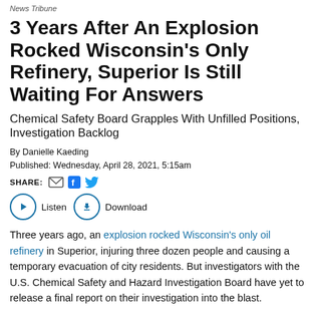News Tribune
3 Years After An Explosion Rocked Wisconsin's Only Refinery, Superior Is Still Waiting For Answers
Chemical Safety Board Grapples With Unfilled Positions, Investigation Backlog
By Danielle Kaeding
Published: Wednesday, April 28, 2021, 5:15am
SHARE: [email] [facebook] [twitter]
Listen   Download
Three years ago, an explosion rocked Wisconsin's only oil refinery in Superior, injuring three dozen people and causing a temporary evacuation of city residents. But investigators with the U.S. Chemical Safety and Hazard Investigation Board have yet to release a final report on their investigation into the blast.